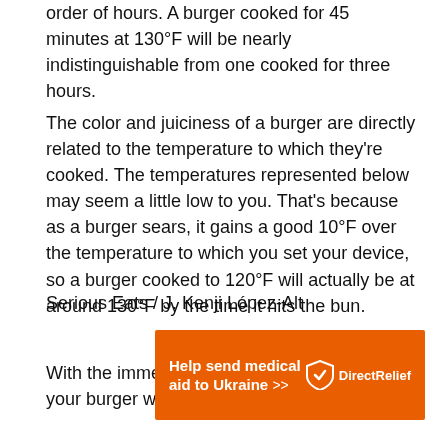order of hours. A burger cooked for 45 minutes at 130°F will be nearly indistinguishable from one cooked for three hours.
The color and juiciness of a burger are directly related to the temperature to which they're cooked. The temperatures represented below may seem a little low to you. That's because as a burger sears, it gains a good 10°F over the temperature to which you set your device, so a burger cooked to 120°F will actually be at around 130°F by the time it hits the bun.
Serious Eats / J. Kenji López-Alt
With the immersion circulator set to 120°F, your burger will
[Figure (other): Orange advertisement banner for Direct Relief: 'Help send medical aid to Ukraine >>' with Direct Relief logo on right side]